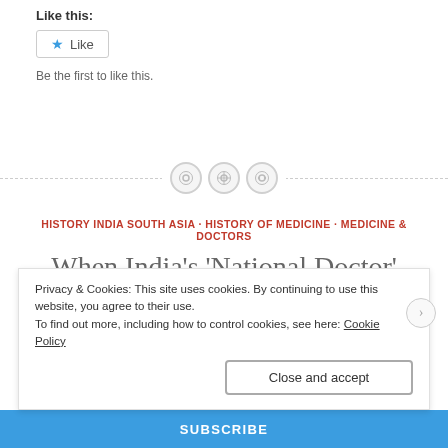Like this:
Like
Be the first to like this.
[Figure (other): Decorative divider with three circular icons on a dashed horizontal line]
HISTORY INDIA SOUTH ASIA · HISTORY OF MEDICINE · MEDICINE & DOCTORS
When India's 'National Doctor' Was Denied Service By an
Privacy & Cookies: This site uses cookies. By continuing to use this website, you agree to their use.
To find out more, including how to control cookies, see here: Cookie Policy
Close and accept